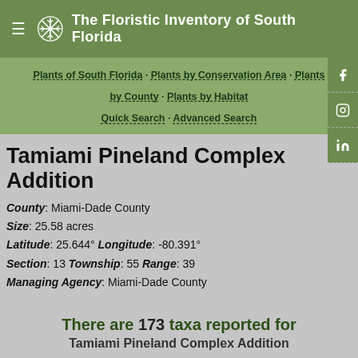The Floristic Inventory of South Florida
Plants of South Florida · Plants by Conservation Area · Plants by County · Plants by Habitat
Quick Search · Advanced Search
Tamiami Pineland Complex Addition
County: Miami-Dade County
Size: 25.58 acres
Latitude: 25.644° Longitude: -80.391°
Section: 13 Township: 55 Range: 39
Managing Agency: Miami-Dade County
There are 173 taxa reported for Tamiami Pineland Complex Addition
Group By Family: [checkbox] Show Results